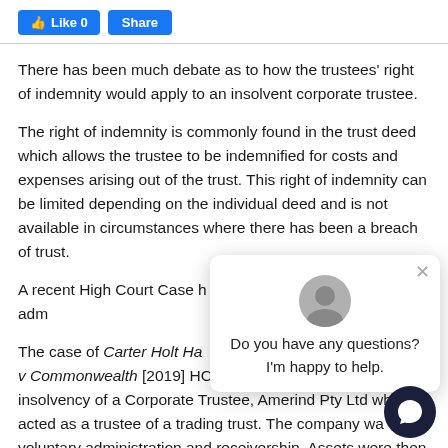Like 0  Share
There has been much debate as to how the trustees' right of indemnity would apply to an insolvent corporate trustee.
The right of indemnity is commonly found in the trust deed which allows the trustee to be indemnified for costs and expenses arising out of the trust. This right of indemnity can be limited depending on the individual deed and is not available in circumstances where there has been a breach of trust.
A recent High Court Case h... the effects of external adm...
The case of Carter Holt Ha... v Commonwealth [2019] HCA 20 (Amerind) involved the insolvency of a Corporate Trustee, Amerind Pty Ltd wh... acted as a trustee of a trading trust. The company was... in voluntary administration and receivership. Assets were then
[Figure (other): Chat popup with avatar and message 'Do you have any questions? I'm happy to help.' and a dark circular chat launcher button at bottom right.]